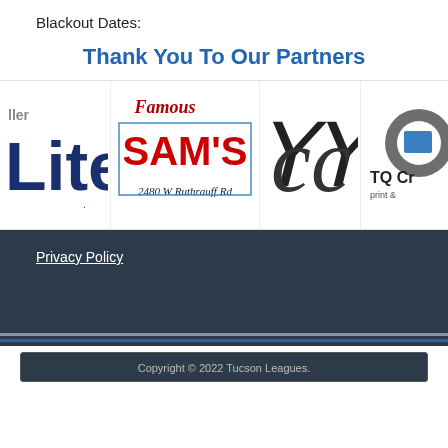Blackout Dates:
Thank You To Our Partners
[Figure (logo): Partner logos banner showing Miller Lite, Famous Sam's (2480 W Ruthrauff Rd), CC cursive logo, and TQ Creative (print) logos side by side]
Privacy Policy
Copyright © 2022 Tucson Leagues.